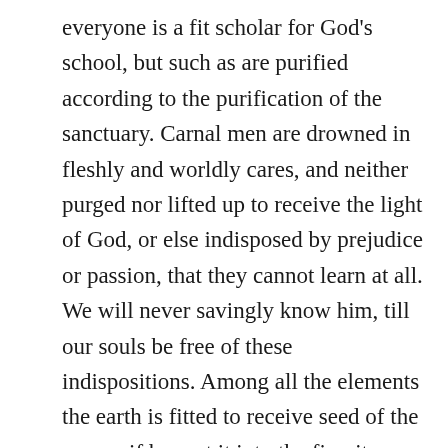everyone is a fit scholar for God's school, but such as are purified according to the purification of the sanctuary. Carnal men are drowned in fleshly and worldly cares, and neither purged nor lifted up to receive the light of God, or else indisposed by prejudice or passion, that they cannot learn at all. We will never savingly know him, till our souls be free of these indispositions. Among all the elements the earth is fitted to receive seed of the sower; if he cast it into the fire, it burneth; if in the air, it withereth; if in the waters, it rots, the instability of that body is for producing monsters, because it closes not straitly the seeds of fishes. Spirits of a fiery temper, or light in inconstancy, or moving as waters, are not for God's lessons, but such as in stayed humility do rest under his hand. If waters be